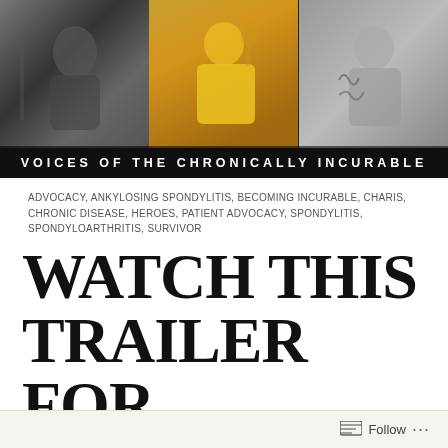[Figure (photo): Banner with three panels showing people with chronic illness. Left panel: black and white photo. Center panel: person in yellow shirt with giraffe print. Right panel: person with tattoos. White text overlay reads 'VOICES OF THE CHRONICALLY INCURABLE'.]
ADVOCACY, ANKYLOSING SPONDYLITIS, BECOMING INCURABLE, CHARIS, CHRONIC DISEASE, HEROES, PATIENT ADVOCACY, SPONDYLITIS, SPONDYLOARTHRITIS, SURVIVOR
WATCH THIS TRAILER FOR “BECOMING INCURABLE,” A DOCUMENTARY ABOUT CHRONIC
Follow